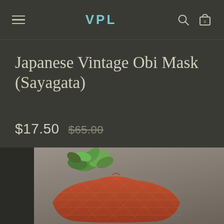VPL — navigation bar with hamburger menu, search icon, and cart icon
Japanese Vintage Obi Mask (Sayagata)
$17.50  $65.00
[Figure (photo): Product photo of a Japanese Vintage Obi Mask (Sayagata) in orange/red color with geometric pattern, displayed on a grey surface with a small succulent plant in the upper left corner. A dark patterned fabric is visible on the right side.]